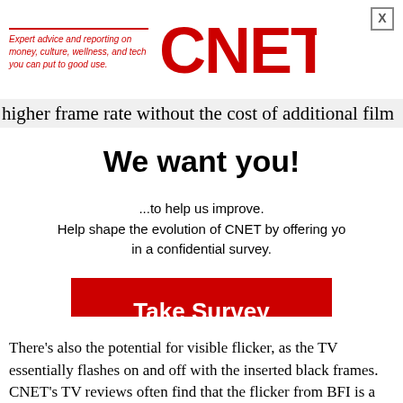[Figure (logo): CNET logo with tagline: Expert advice and reporting on money, culture, wellness, and tech you can put to good use.]
higher frame rate without the cost of additional film
We want you!
...to help us improve. Help shape the evolution of CNET by offering your opinions in a confidential survey.
Take Survey
Contact us.
When you reply to this survey, you acknowledge that Red Ventures collects your data in accordance with the Red Ventures privacy policy available
There's also the potential for visible flicker, as the TV essentially flashes on and off with the inserted black frames. CNET's TV reviews often find that the flicker from BFI is a primary detractor, though this is a nuanced